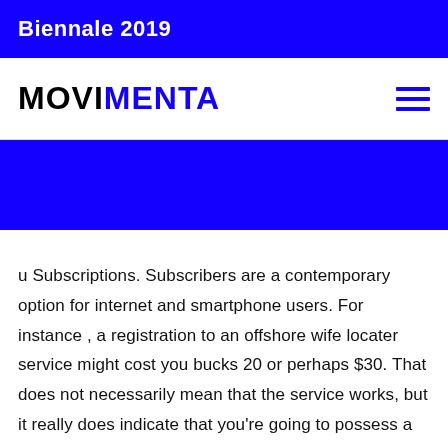Biennale 2019
MOVIMENTA
[Figure (other): Blue banner/hero image block]
u Subscriptions. Subscribers are a contemporary option for internet and smartphone users. For instance , a registration to an offshore wife locater service might cost you bucks 20 or perhaps $30. That does not necessarily mean that the service works, but it really does indicate that you're going to possess a better potential for success. The